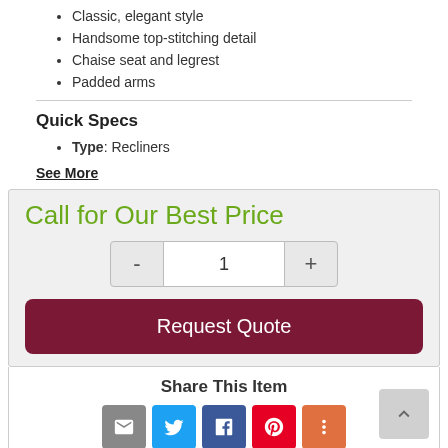Classic, elegant style
Handsome top-stitching detail
Chaise seat and legrest
Padded arms
Quick Specs
Type: Recliners
See More
Call for Our Best Price
Request Quote
Share This Item